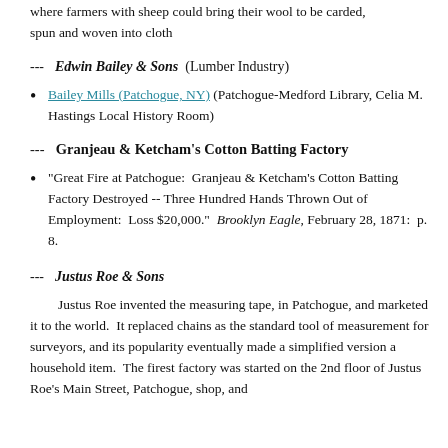where farmers with sheep could bring their wool to be carded, spun and woven into cloth
---  Edwin Bailey & Sons  (Lumber Industry)
Bailey Mills (Patchogue, NY) (Patchogue-Medford Library, Celia M. Hastings Local History Room)
---  Granjeau & Ketcham's Cotton Batting Factory
"Great Fire at Patchogue:  Granjeau & Ketcham's Cotton Batting Factory Destroyed -- Three Hundred Hands Thrown Out of Employment:  Loss $20,000."  Brooklyn Eagle, February 28, 1871:  p. 8.
---  Justus Roe & Sons
Justus Roe invented the measuring tape, in Patchogue, and marketed it to the world.  It replaced chains as the standard tool of measurement for surveyors, and its popularity eventually made a simplified version a household item.  The firest factory was started on the 2nd floor of Justus Roe's Main Street, Patchogue, shop, and...